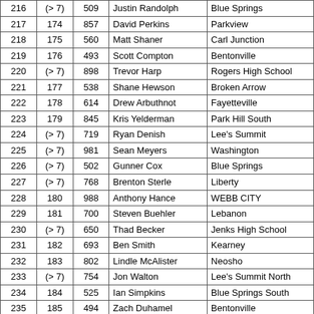| 216 | (> 7) | 509 | Justin Randolph | Blue Springs |
| 217 | 174 | 857 | David Perkins | Parkview |
| 218 | 175 | 560 | Matt Shaner | Carl Junction |
| 219 | 176 | 493 | Scott Compton | Bentonville |
| 220 | (> 7) | 898 | Trevor Harp | Rogers High School |
| 221 | 177 | 538 | Shane Hewson | Broken Arrow |
| 222 | 178 | 614 | Drew Arbuthnot | Fayetteville |
| 223 | 179 | 845 | Kris Yelderman | Park Hill South |
| 224 | (> 7) | 719 | Ryan Denish | Lee's Summit |
| 225 | (> 7) | 981 | Sean Meyers | Washington |
| 226 | (> 7) | 502 | Gunner Cox | Blue Springs |
| 227 | (> 7) | 768 | Brenton Sterle | Liberty |
| 228 | 180 | 988 | Anthony Hance | WEBB CITY |
| 229 | 181 | 700 | Steven Buehler | Lebanon |
| 230 | (> 7) | 650 | Thad Becker | Jenks High School |
| 231 | 182 | 693 | Ben Smith | Kearney |
| 232 | 183 | 802 | Lindle McAlister | Neosho |
| 233 | (> 7) | 754 | Jon Walton | Lee's Summit North |
| 234 | 184 | 525 | Ian Simpkins | Blue Springs South |
| 235 | 185 | 494 | Zach Duhamel | Bentonville |
| 236 | 186 | 611 | Jason Pahl | Eureka High School |
| 237 | (> 7) | 597 | Andrew Heermann | Emporia |
| 238 | 187 | 967 | Kyle Ritchhart | Warrensburg |
| 239 | (> 7) | 786 | Rick Nelson | Manhattan HS |
| 240 | (> 7) | 912 | Jim Lohkamp | Saint Thomas Aquinas |
| 241 | 188 | 881 | Blake Miller | Raymore-Peculiar |
| 242 | 189 | 641 | Tanner Heim | Har-Ber |